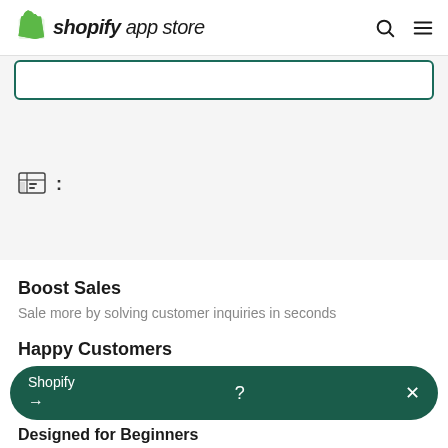shopify app store
[Figure (screenshot): Green outlined input/button area]
[Figure (screenshot): Table/list icon followed by colon]
Boost Sales
Sale more by solving customer inquiries in seconds
Happy Customers
[Figure (screenshot): Dark green rounded bar with Shopify label, arrow, question mark, and X close button]
Designed for Beginners